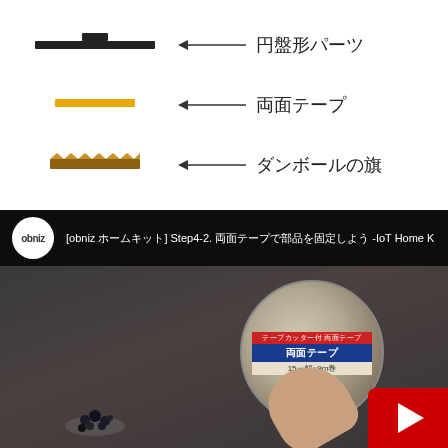[Figure (illustration): Legend diagram showing three items: 円盤形パーツ (disc-shaped part) shown as a black flat bar with knob on top, 両面テープ (double-sided tape) shown as a yellow/gold bar, and ダンボールの旗 (cardboard flag) shown as a brown zigzag/triangle pattern bar. Each item has an arrow pointing to its Japanese label on the right.]
[Figure (screenshot): YouTube video thumbnail for obniz channel showing Step4-2 of IoT Home Kit assembly. Video shows a hand holding a roll of double-sided tape (両面テープ, 15mm x 9m) against a dark wooden surface background with small black parts scattered at bottom left. Red YouTube play button visible at bottom right corner. obniz logo (white circle with 'obniz' text) and video title text visible in header.]